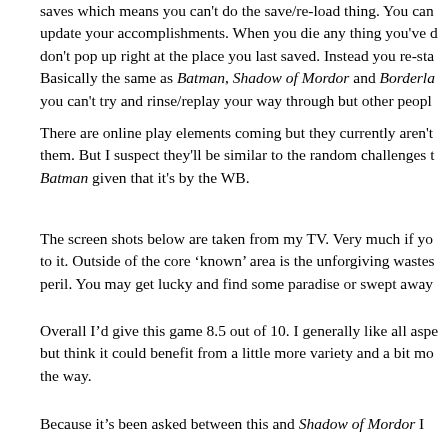saves which means you can't do the save/re-load thing. You can update your accomplishments. When you die any thing you've done don't pop up right at the place you last saved. Instead you re-sta... Basically the same as Batman, Shadow of Mordor and Borderla... you can't try and rinse/replay your way through but other peopl...
There are online play elements coming but they currently aren't... them. But I suspect they'll be similar to the random challenges t... Batman given that it's by the WB.
The screen shots below are taken from my TV. Very much if yo... to it. Outside of the core 'known' area is the unforgiving wastes peril. You may get lucky and find some paradise or swept away
Overall I'd give this game 8.5 out of 10. I generally like all aspe... but think it could benefit from a little more variety and a bit mo... the way.
Because it's been asked between this and Shadow of Mordor I...